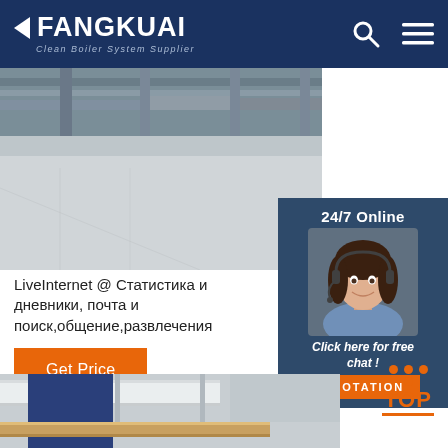FANGKUAI Clean Boiler System Supplier
[Figure (photo): Industrial boiler facility exterior with concrete floor and piping infrastructure]
[Figure (photo): 24/7 Online customer service representative with headset, chat panel with 'Click here for free chat!' and QUOTATION button]
LiveInternet @ Статистика и дневники, почта и поиск,общение,развлечения
[Figure (other): Get Price button (orange)]
[Figure (other): TOP navigation button with orange dots and text]
[Figure (photo): Industrial facility interior showing white duct, wooden beam, and blue wall]